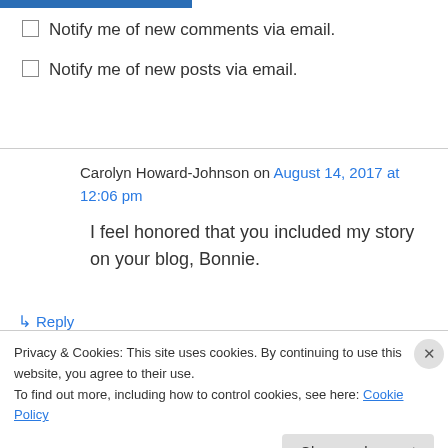Notify me of new comments via email.
Notify me of new posts via email.
Carolyn Howard-Johnson on August 14, 2017 at 12:06 pm
I feel honored that you included my story on your blog, Bonnie.
↳ Reply
Privacy & Cookies: This site uses cookies. By continuing to use this website, you agree to their use.
To find out more, including how to control cookies, see here: Cookie Policy
Close and accept